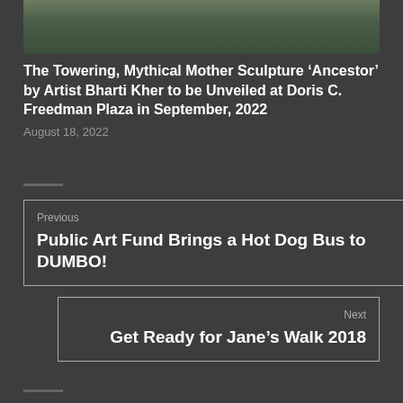[Figure (photo): Partial view of colorful sculptures or art objects, appears to be the top portion of an article image related to the sculpture 'Ancestor']
The Towering, Mythical Mother Sculpture ‘Ancestor’ by Artist Bharti Kher to be Unveiled at Doris C. Freedman Plaza in September, 2022
August 18, 2022
Previous
Public Art Fund Brings a Hot Dog Bus to DUMBO!
Next
Get Ready for Jane’s Walk 2018